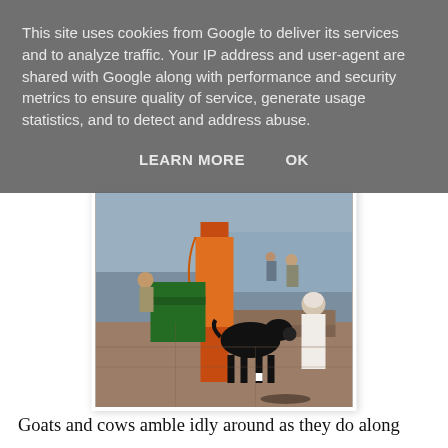This site uses cookies from Google to deliver its services and to analyze traffic. Your IP address and user-agent are shared with Google along with performance and security metrics to ensure quality of service, generate usage statistics, and to detect and address abuse.
LEARN MORE   OK
[Figure (photo): A black goat standing on stone steps near an orange pillar with saffron fabric draped around it, a person in white robes standing nearby, and other people visible in the background near a body of water. Scene appears to be at a ghat in Varanasi, India.]
Goats and cows amble idly around as they do along